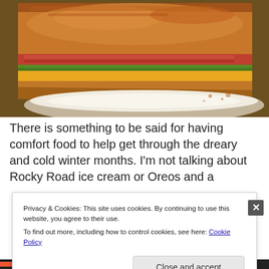[Figure (photo): Close-up photo of a grilled sandwich cut diagonally, showing melted cheddar cheese, bacon, and pesto between toasted bread slices, served on a white plate.]
There is something to be said for having comfort food to help get through the dreary and cold winter months. I'm not talking about Rocky Road ice cream or Oreos and a
Privacy & Cookies: This site uses cookies. By continuing to use this website, you agree to their use.
To find out more, including how to control cookies, see here: Cookie Policy

Close and accept